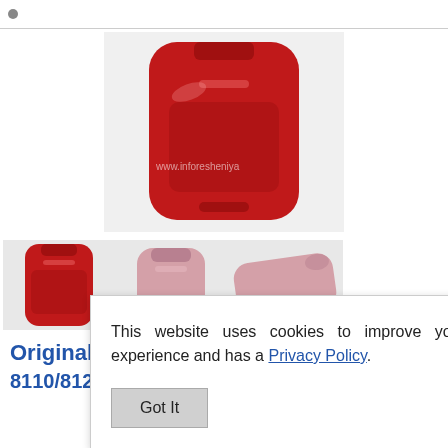[Figure (photo): Red silicone phone case shown from front view, main large product image]
[Figure (photo): Three thumbnail images of phone cases: red front view, pink front view, pink side view with watermark www.inforesheniya]
Original
8110/812
[Figure (photo): Partial bottom image of a red/dark phone case]
This website uses cookies to improve your experience and has a Privacy Policy.
Got It